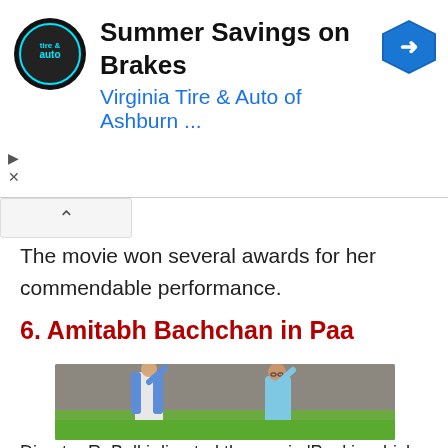[Figure (other): Advertisement banner for Virginia Tire & Auto of Ashburn featuring circular logo, headline 'Summer Savings on Brakes', subtitle 'Virginia Tire & Auto of Ashburn ...', and a blue diamond arrow icon. Play and close (X) controls visible at left.]
The movie won several awards for her commendable performance.
6. Amitabh Bachchan in Paa
[Figure (photo): Two men posing outdoors in front of a stone building with green grass. The man on the left wears a white vest over a blue shirt; the man on the right is bald, wears glasses and a light blue sweater. Both have their arms raised above their heads.]
Director R. Balki directed the movie 'Paa' in which